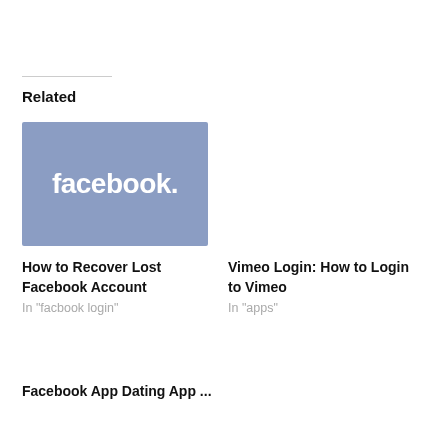Related
[Figure (logo): Facebook logo on blue-grey background]
How to Recover Lost Facebook Account
In "facbook login"
Vimeo Login: How to Login to Vimeo
In "apps"
Facebook App Dating App ...